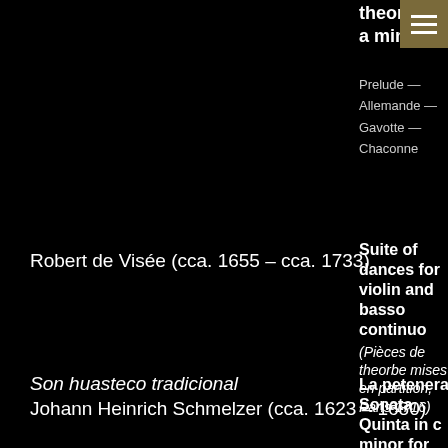theorbo in a minor
Prelude — Allemande — Gavotte — Chaconne
Robert de Visée (cca. 1655 – cca. 1733)
Suite of dances for violin and basso continuo (Pièces de theorbe mises en partition, Paris 1716)
Allemande — Courante — Gige — Pastorale — Chaconne
Son huasteco tradicional
Johann Heinrich Schmelzer (cca. 1623 – 1680)
La petenera
Sonata Quinta in c minor for violin and basso